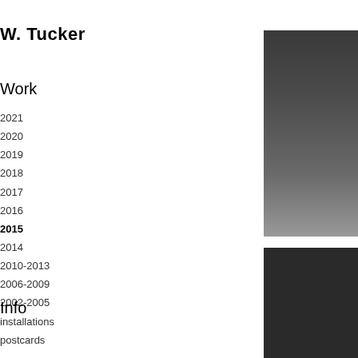W. Tucker
Work
2021
2020
2019
2018
2017
2016
2015
2014
2010-2013
2006-2009
2002-2005
installations
postcards
Info
[Figure (photo): Dark grayscale photograph, upper right area, gradient from dark gray at top to lighter gray at bottom]
[Figure (photo): Dark near-black photograph, lower right area]